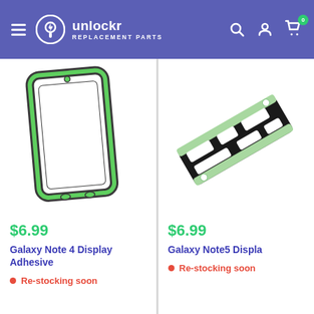unlockr REPLACEMENT PARTS
[Figure (photo): Green adhesive frame for Samsung Galaxy Note 4 display]
$6.99
Galaxy Note 4 Display Adhesive
Re-stocking soon
[Figure (photo): Green and black adhesive strip for Samsung Galaxy Note 5 display]
$6.99
Galaxy Note5 Displa…
Re-stocking soon